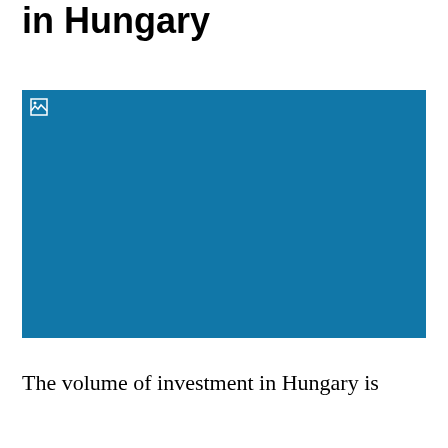in Hungary
[Figure (photo): A solid teal/blue rectangle representing a photo that failed to load, with a broken image icon in the top-left corner.]
The volume of investment in Hungary is